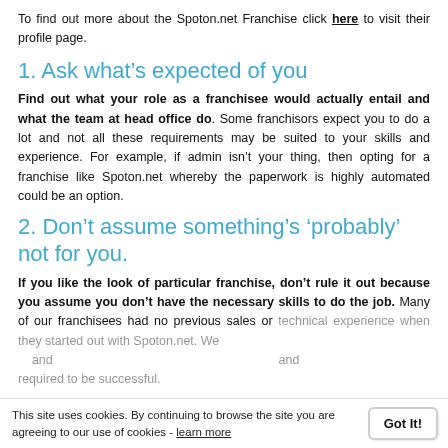To find out more about the Spoton.net Franchise click here to visit their profile page.
1. Ask what's expected of you
Find out what your role as a franchisee would actually entail and what the team at head office do. Some franchisors expect you to do a lot and not all these requirements may be suited to your skills and experience. For example, if admin isn't your thing, then opting for a franchise like Spoton.net whereby the paperwork is highly automated could be an option.
2. Don't assume something's 'probably' not for you.
If you like the look of particular franchise, don't rule it out because you assume you don't have the necessary skills to do the job. Many of our franchisees had no previous sales or technical experience when they started out with Spoton.net. We and required to be successful.
This site uses cookies. By continuing to browse the site you are agreeing to our use of cookies - learn more